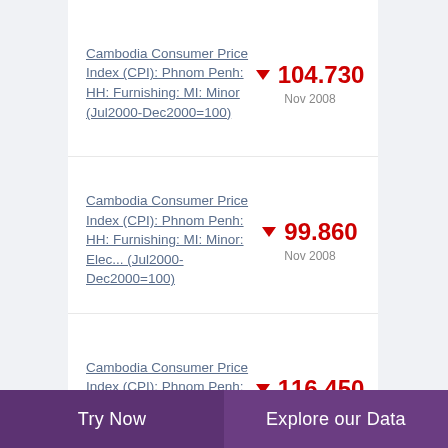Cambodia Consumer Price Index (CPI): Phnom Penh: HH: Furnishing: MI: Minor (Jul2000-Dec2000=100)
Cambodia Consumer Price Index (CPI): Phnom Penh: HH: Furnishing: MI: Minor: Elec... (Jul2000-Dec2000=100)
Cambodia Consumer Price Index (CPI): Phnom Penh: HH: Furnishing: MI: Minor: Flat... (Jul2000-
Try Now | Explore our Data